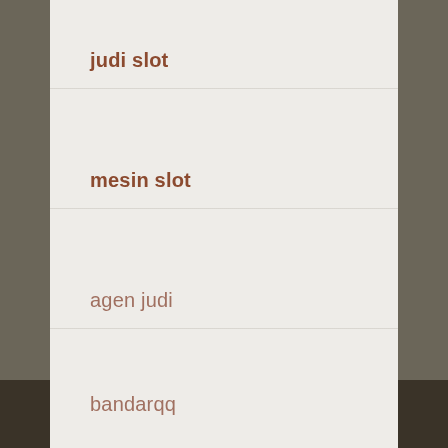judi slot
mesin slot
agen judi
bandarqq